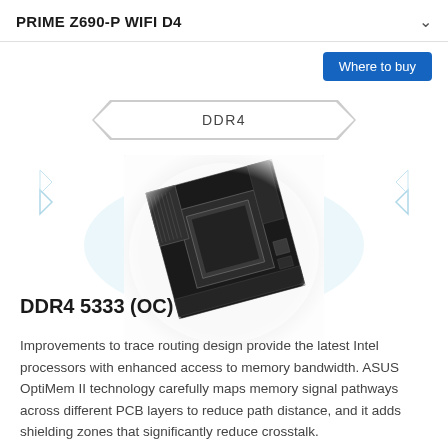PRIME Z690-P WIFI D4
Where to buy
DDR4
[Figure (photo): Close-up photo of ASUS PRIME Z690-P WIFI D4 motherboard showing the CPU socket area with heatsinks and PCB detail, rendered in grayscale with a light halo/glow effect around it.]
DDR4 5333 (OC)
Improvements to trace routing design provide the latest Intel processors with enhanced access to memory bandwidth. ASUS OptiMem II technology carefully maps memory signal pathways across different PCB layers to reduce path distance, and it adds shielding zones that significantly reduce crosstalk.